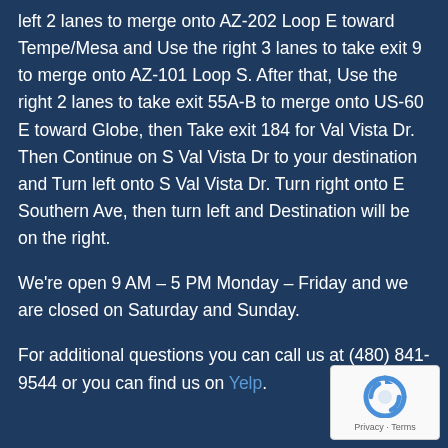left 2 lanes to merge onto AZ-202 Loop E toward Tempe/Mesa and Use the right 3 lanes to take exit 9 to merge onto AZ-101 Loop S. After that, Use the right 2 lanes to take exit 55A-B to merge onto US-60 E toward Globe, then Take exit 184 for Val Vista Dr. Then Continue on S Val Vista Dr to your destination and Turn left onto S Val Vista Dr. Turn right onto E Southern Ave, then turn left and Destination will be on the right.
We're open 9 AM – 5 PM Monday – Friday and we are closed on Saturday and Sunday.
For additional questions you can call us at (480) 841-9544 or you can find us on Yelp.
[Figure (other): reCAPTCHA privacy badge with recycle arrow icon and 'Privacy - Terms' text]